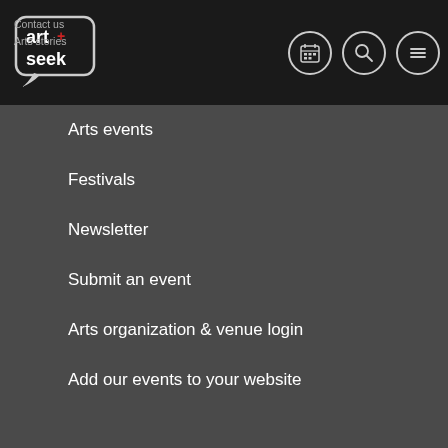[Figure (logo): ArtSeek logo — speech bubble shape with 'art+seek' text inside, white on dark background]
Contact us
Arts stories
Arts events
Festivals
Newsletter
Submit an event
Arts organization & venue login
Add our events to your website